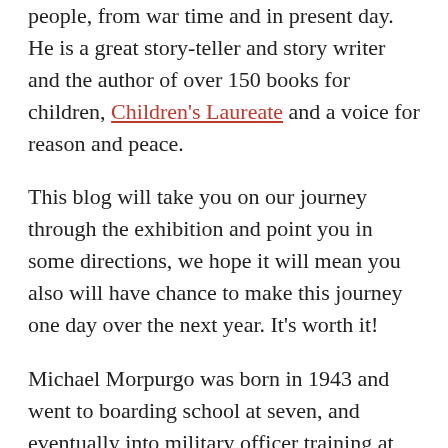people, from war time and in present day. He is a great story-teller and story writer and the author of over 150 books for children, Children's Laureate and a voice for reason and peace.
This blog will take you on our journey through the exhibition and point you in some directions, we hope it will mean you also will have chance to make this journey one day over the next year. It's worth it!
Michael Morpurgo was born in 1943 and went to boarding school at seven, and eventually into military officer training at Sandhurst and then he became a teacher. He found the military life difficult and as a teacher he wanted to help children to be creative, give them opportunities, take them out into the world and